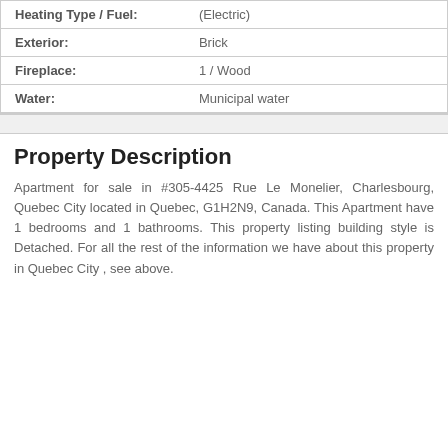| Heating Type / Fuel: | (Electric) |
| Exterior: | Brick |
| Fireplace: | 1 / Wood |
| Water: | Municipal water |
Property Description
Apartment for sale in #305-4425 Rue Le Monelier, Charlesbourg, Quebec City located in Quebec, G1H2N9, Canada. This Apartment have 1 bedrooms and 1 bathrooms. This property listing building style is Detached. For all the rest of the information we have about this property in Quebec City , see above.